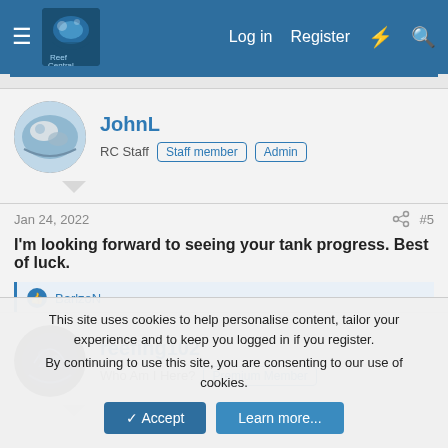Reef Central — Log in | Register
JohnL
RC Staff  Staff member  Admin
Jan 24, 2022  #5
I'm looking forward to seeing your tank progress. Best of luck.
BarlzoN
reefing102
Who Am I Here?  Premium Member
This site uses cookies to help personalise content, tailor your experience and to keep you logged in if you register.
By continuing to use this site, you are consenting to our use of cookies.
Accept  Learn more...